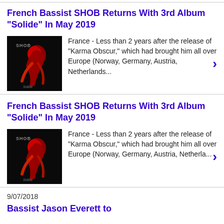French Bassist SHOB Returns With 3rd Album "Solide" In May 2019
France - Less than 2 years after the release of "Karma Obscur," which had brought him all over Europe (Norway, Germany, Austria, Netherlands...
French Bassist SHOB Returns With 3rd Album "Solide" In May 2019
France - Less than 2 years after the release of "Karma Obscur," which had brought him all over Europe (Norway, Germany, Austria, Netherla...
9/07/2018
Bassist Jason Everett to